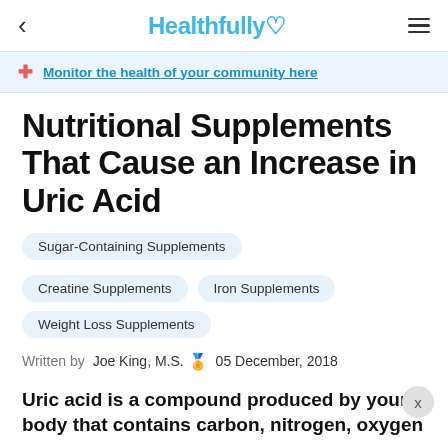Healthfully ♡
Monitor the health of your community here
Nutritional Supplements That Cause an Increase in Uric Acid
Sugar-Containing Supplements
Creatine Supplements
Iron Supplements
Weight Loss Supplements
Written by  Joe King, M.S. 🏅 05 December, 2018
Uric acid is a compound produced by your body that contains carbon, nitrogen, oxygen